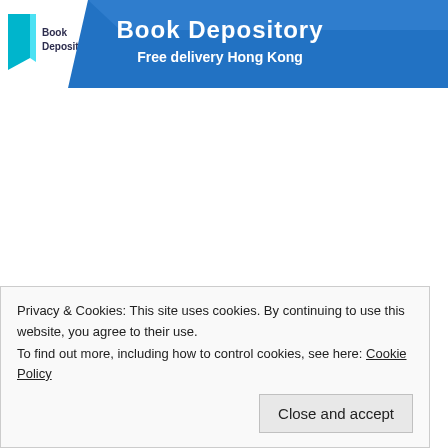[Figure (logo): Book Depository logo with teal book icon and text, alongside a blue diagonal banner reading 'Book Depository' and 'Free delivery Hong Kong']
Privacy & Cookies: This site uses cookies. By continuing to use this website, you agree to their use.
To find out more, including how to control cookies, see here: Cookie Policy
Close and accept